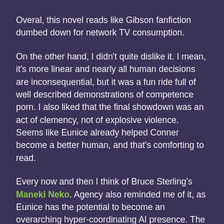Overal, this novel reads like Gibson fanfiction dumbed down for network TV consumption.
On the other hand, I didn't quite dislike it. I mean, it's more linear and nearly all human decisions are inconsequential, but it was a fun ride full of well described demonstrations of competence porn. I also liked that the final showdown was an act of clemency, not of explosive violence. Seems like Eunice already helped Conner become a better human, and that's comforting to read.
Every now and then I think of Bruce Sterling's Maneki Neko. Agency also reminded me of it, as Eunice has the potential to become an overarching hyper-coordinating AI presence. The main differences are first, her human personality substrate, and second, she appears to be very market-oriented instead of basing her coordination on a gift economy.